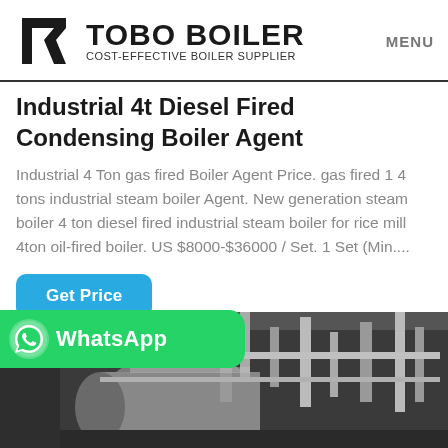TOBO BOILER COST-EFFECTIVE BOILER SUPPLIER | MENU
Industrial 4t Diesel Fired Condensing Boiler Agent
Industrial 4 Ton gas fired Boiler Agent Price. gas fired 1 4 tons industrial steam boiler Agent. New generation steam boiler 4 ton diesel fired industrial steam boiler for rice mill 4ton oil-fired boiler. US $8000-$36000 / Set. 1 Set (Min....
Get Price
[Figure (logo): WhatsApp button banner in green]
[Figure (photo): Industrial boiler facility interior showing pipes and equipment]